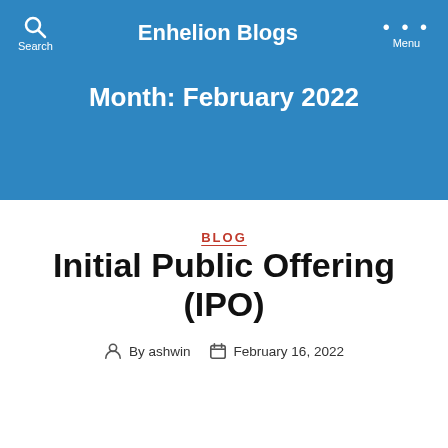Enhelion Blogs
Month: February 2022
BLOG
Initial Public Offering (IPO)
By ashwin   February 16, 2022